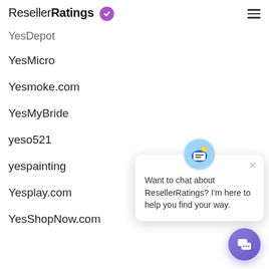ResellerRatings
YesDepot
YesMicro
Yesmoke.com
YesMyBride
yeso521
yespainting
Yesplay.com
YesShopNow.com
[Figure (screenshot): Chat popup with avatar bot icon and message: Want to chat about ResellerRatings? I'm here to help you find your way.]